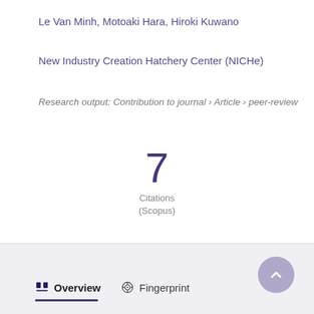Le Van Minh, Motoaki Hara, Hiroki Kuwano
New Industry Creation Hatchery Center (NICHe)
Research output: Contribution to journal › Article › peer-review
7
Citations
(Scopus)
Overview
Fingerprint